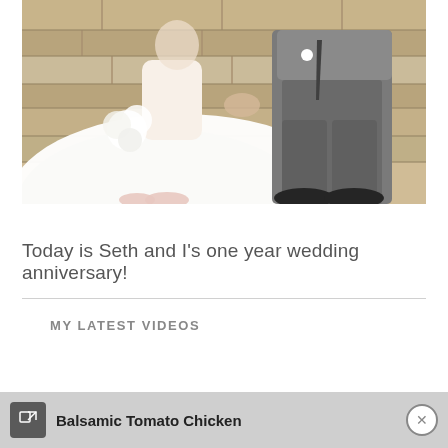[Figure (photo): Wedding photo of a bride in a white dress and groom in a gray suit sitting on stone steps. The bride holds a bouquet of white flowers. Both are seated close together.]
Today is Seth and I's one year wedding anniversary!
MY LATEST VIDEOS
Balsamic Tomato Chicken